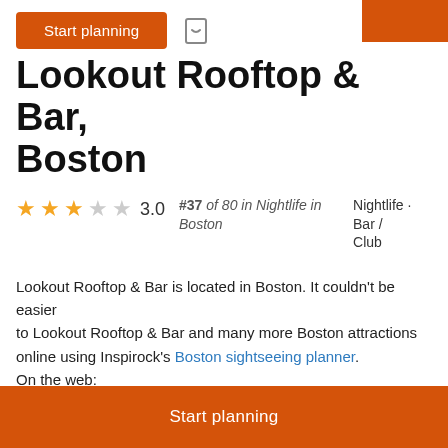Start planning
Lookout Rooftop & Bar, Boston
3.0 #37 of 80 in Nightlife in Boston · Nightlife · Bar / Club
Lookout Rooftop & Bar is located in Boston. It couldn't be easier to plan a trip to Lookout Rooftop & Bar and many more Boston attractions online using Inspirock's Boston sightseeing planner. On the web:
more
Start planning